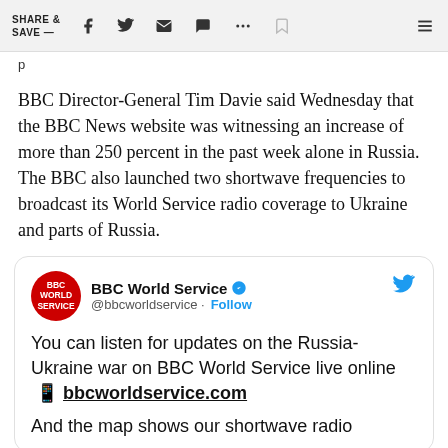SHARE & SAVE —
BBC Director-General Tim Davie said Wednesday that the BBC News website was witnessing an increase of more than 250 percent in the past week alone in Russia. The BBC also launched two shortwave frequencies to broadcast its World Service radio coverage to Ukraine and parts of Russia.
[Figure (screenshot): Embedded tweet from @bbcworldservice (BBC World Service, verified): 'You can listen for updates on the Russia-Ukraine war on BBC World Service live online 📱 bbcworldservice.com — And the map shows our shortwave radio']